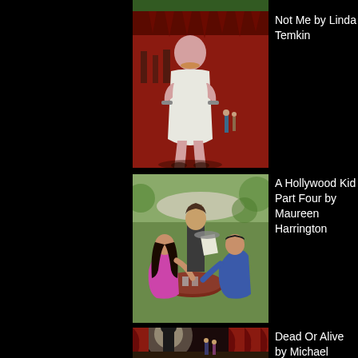[Figure (illustration): Partially visible illustration at top of page]
[Figure (illustration): Illustrated book cover: large figure in white robe/outfit with red dramatic background and smaller figures]
Not Me by Linda Temkin
[Figure (illustration): Illustrated scene: three people at an outdoor restaurant table, one standing server holding paper, two seated]
A Hollywood Kid Part Four by Maureen Harrington
[Figure (illustration): Illustrated scene: Oscar statue silhouette with red curtain theater backdrop and figures]
Dead Or Alive by Michael Burns